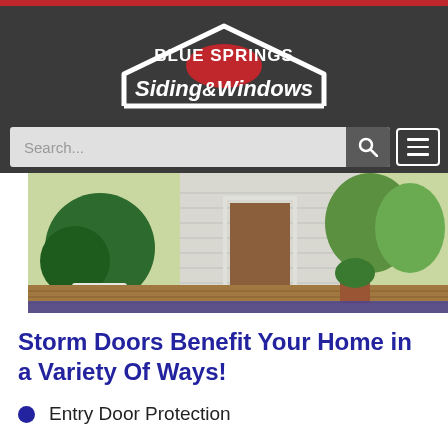[Figure (logo): Blue Springs Siding & Windows logo — white house outline with red semicircle/arch, text BLUE SPRINGS in white, Siding & Windows in white italic, on dark grey background]
[Figure (screenshot): Search bar with placeholder text 'Search...' and magnifying glass icon, plus hamburger menu button, on dark grey background]
[Figure (photo): Exterior photo of a home entryway with potted plants, wooden deck, and white siding visible]
Storm Doors Benefit Your Home in a Variety Of Ways!
Entry Door Protection